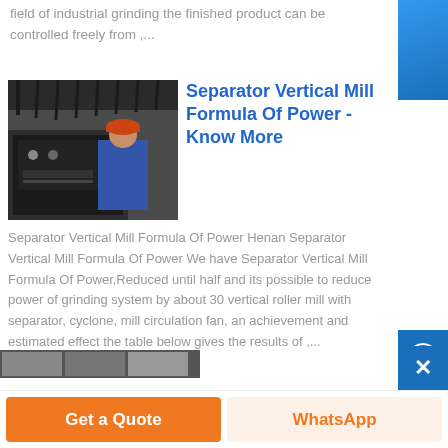field of industrial grinding the finished product can be controlled freely from ,...
[Figure (photo): A worker in a blue uniform and red hard hat operating industrial machinery]
Separator Vertical Mill Formula Of Power - Know More
Separator Vertical Mill Formula Of Power Henan Separator Vertical Mill Formula Of Power We have Separator Vertical Mill Formula Of Power,Reduced until half and its possible to reduce power of grinding system by about 30 vertical roller mill with separator, cyclone, mill circulation fan, an achievement and estimated effect the table below gives the results of ,...
Get a Quote | WhatsApp